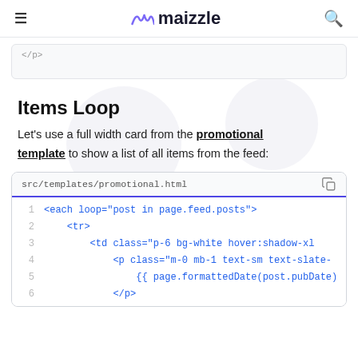maizzle
src/templates/promotional.html [stub from previous section]
Items Loop
Let's use a full width card from the promotional template to show a list of all items from the feed:
[Figure (screenshot): Code block showing src/templates/promotional.html with 6 lines of HTML template code including <each loop>, <tr>, <td>, <p>, formattedDate, and </p> tags in blue monospace font on white background]